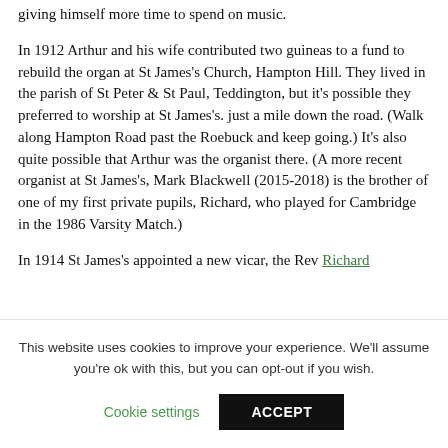giving himself more time to spend on music.
In 1912 Arthur and his wife contributed two guineas to a fund to rebuild the organ at St James's Church, Hampton Hill. They lived in the parish of St Peter & St Paul, Teddington, but it's possible they preferred to worship at St James's. just a mile down the road. (Walk along Hampton Road past the Roebuck and keep going.) It's also quite possible that Arthur was the organist there. (A more recent organist at St James's, Mark Blackwell (2015-2018) is the brother of one of my first private pupils, Richard, who played for Cambridge in the 1986 Varsity Match.)
In 1914 St James's appointed a new vicar, the Rev Richard [continued below]
This website uses cookies to improve your experience. We'll assume you're ok with this, but you can opt-out if you wish. Cookie settings ACCEPT